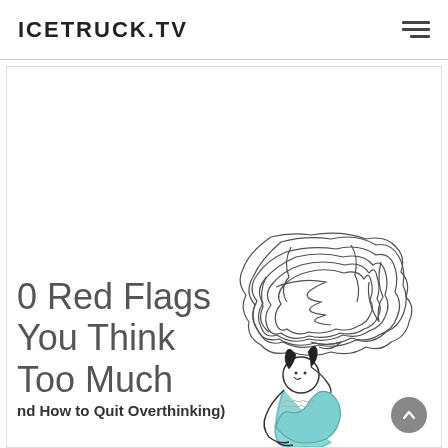ICETRUCK.TV
[Figure (illustration): An illustration of a person sitting with knees drawn up, with a large scribbled cloud of tangled lines above their head representing overthinking or chaotic thoughts. The figure has dark hair in a ponytail and wears a teal/blue outfit.]
10 Red Flags You Think Too Much (nd How to Quit Overthinking)